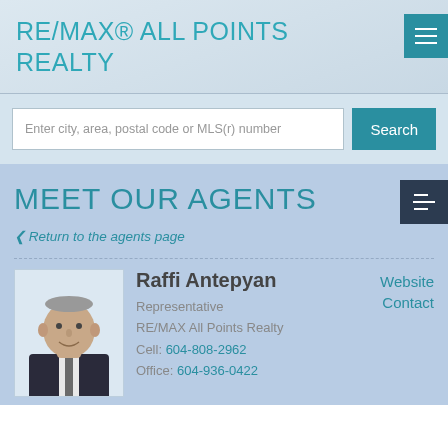RE/MAX® ALL POINTS REALTY
Enter city, area, postal code or MLS(r) number
MEET OUR AGENTS
Return to the agents page
[Figure (photo): Headshot photo of Raffi Antepyan, an older man in a dark suit]
Raffi Antepyan
Representative
RE/MAX All Points Realty
Cell: 604-808-2962
Office: 604-936-0422
Website
Contact